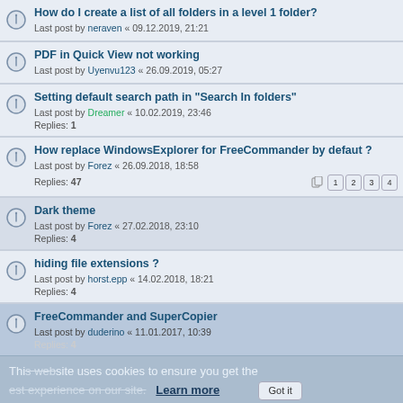How do I create a list of all folders in a level 1 folder?
Last post by neraven « 09.12.2019, 21:21
PDF in Quick View not working
Last post by Uyenvu123 « 26.09.2019, 05:27
Setting default search path in "Search In folders"
Last post by Dreamer « 10.02.2019, 23:46
Replies: 1
How replace WindowsExplorer for FreeCommander by defaut ?
Last post by Forez « 26.09.2018, 18:58
Replies: 47   [pages: 1 2 3 4]
Dark theme
Last post by Forez « 27.02.2018, 23:10
Replies: 4
hiding file extensions ?
Last post by horst.epp « 14.02.2018, 18:21
Replies: 4
FreeCommander and SuperCopier
Last post by duderino « 11.01.2017, 10:39
Replies: 4
THUMBNAIL VIEW For PDF doesn't work?
Last post by wrbird « 08.11.2016, 19:38
Replies: 13
compare (sync) two flat folders
Last post by NumberOne « 09.09.2016, 14:40
Summary or note
Last post by joby_toss « 27.06.2016, 13:53
Replies: 1